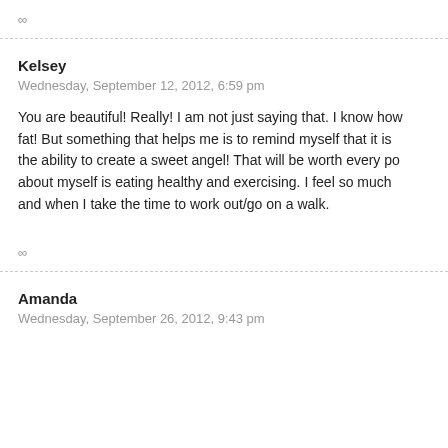∞
Kelsey
Wednesday, September 12, 2012, 6:59 pm
You are beautiful! Really! I am not just saying that. I know how fat! But something that helps me is to remind myself that it is the ability to create a sweet angel! That will be worth every po about myself is eating healthy and exercising. I feel so much and when I take the time to work out/go on a walk.
∞
Amanda
Wednesday, September 26, 2012, 9:43 pm